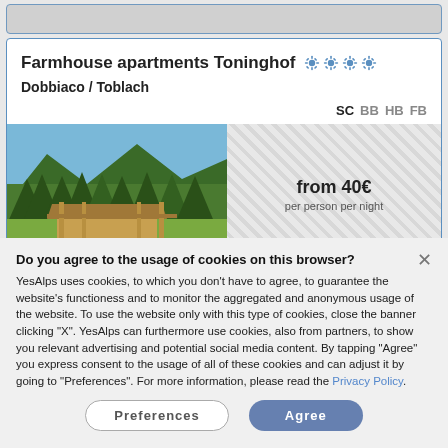Farmhouse apartments Toninghof ★★★★
Dobbiaco / Toblach
SC BB HB FB
from 40€ per person per night
[Figure (photo): Alpine farmhouse with wooden building in foreground, green forested mountains and blue sky in background]
Do you agree to the usage of cookies on this browser?
YesAlps uses cookies, to which you don't have to agree, to guarantee the website's functioness and to monitor the aggregated and anonymous usage of the website. To use the website only with this type of cookies, close the banner clicking "X". YesAlps can furthermore use cookies, also from partners, to show you relevant advertising and potential social media content. By tapping "Agree" you express consent to the usage of all of these cookies and can adjust it by going to "Preferences". For more information, please read the Privacy Policy.